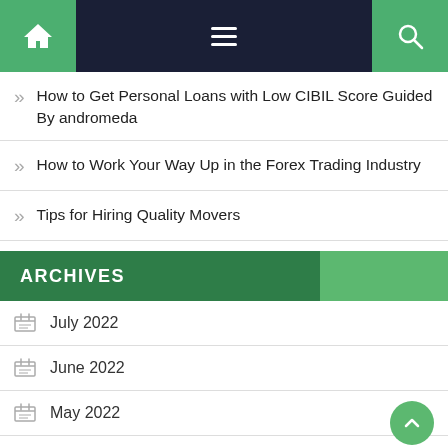Navigation bar with home, menu, and search icons
How to Get Personal Loans with Low CIBIL Score Guided By andromeda
How to Work Your Way Up in the Forex Trading Industry
Tips for Hiring Quality Movers
ARCHIVES
July 2022
June 2022
May 2022
April 2022